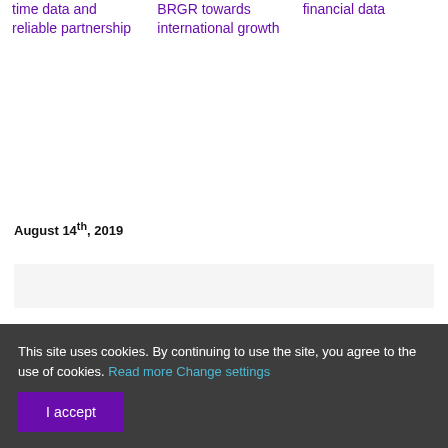time data and reliable partnership
BRGR towards international growth
financial data
August 14th, 2019
This site uses cookies. By continuing to use the site, you agree to the use of cookies. Read more Change settings
I accept